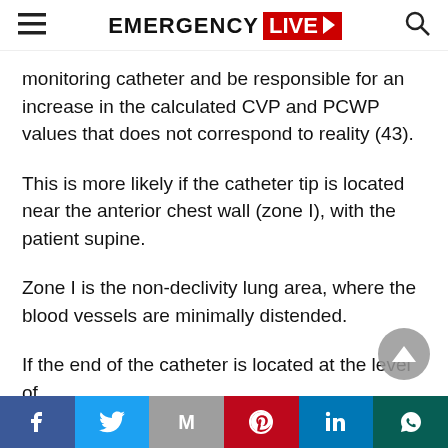EMERGENCY LIVE▶
monitoring catheter and be responsible for an increase in the calculated CVP and PCWP values that does not correspond to reality (43).
This is more likely if the catheter tip is located near the anterior chest wall (zone I), with the patient supine.
Zone I is the non-declivity lung area, where the blood vessels are minimally distended.
If the end of the catheter is located at the level of